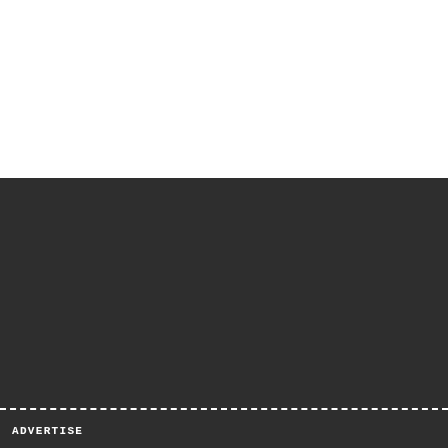ADVERTISE
GUIDES
CONTACT
ABOUT
TEAM
JOBS